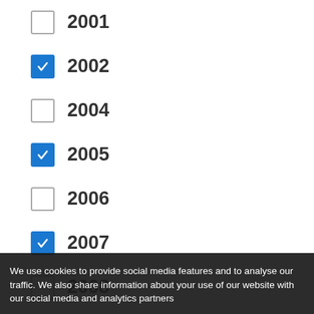2001 (unchecked)
2002 (checked)
2004 (unchecked)
2005 (checked)
2006 (unchecked)
2007 (checked)
2008 (unchecked)
2009 (unchecked)
2010 (unchecked)
2011 (unchecked)
2012 (unchecked)
2013 (unchecked)
2014 (unchecked)
2015 (checked)
2016 (unchecked, partially visible)
We use cookies to provide social media features and to analyse our traffic. We also share information about your use of our website with our social media and analytics partners